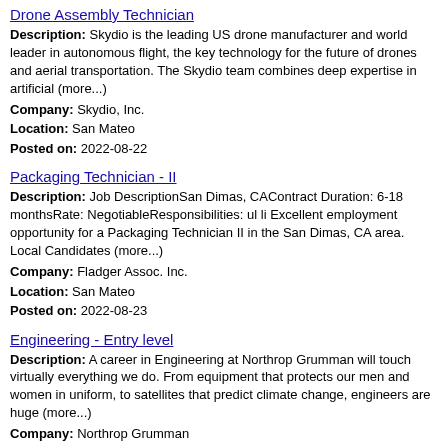Drone Assembly Technician
Description: Skydio is the leading US drone manufacturer and world leader in autonomous flight, the key technology for the future of drones and aerial transportation. The Skydio team combines deep expertise in artificial (more...)
Company: Skydio, Inc.
Location: San Mateo
Posted on: 2022-08-22
Packaging Technician - II
Description: Job DescriptionSan Dimas, CAContract Duration: 6-18 monthsRate: NegotiableResponsibilities: ul li Excellent employment opportunity for a Packaging Technician II in the San Dimas, CA area. Local Candidates (more...)
Company: Fladger Assoc. Inc.
Location: San Mateo
Posted on: 2022-08-23
Engineering - Entry level
Description: A career in Engineering at Northrop Grumman will touch virtually everything we do. From equipment that protects our men and women in uniform, to satellites that predict climate change, engineers are huge (more...)
Company: Northrop Grumman
Location: Daly City
Posted on: 2022-08-29